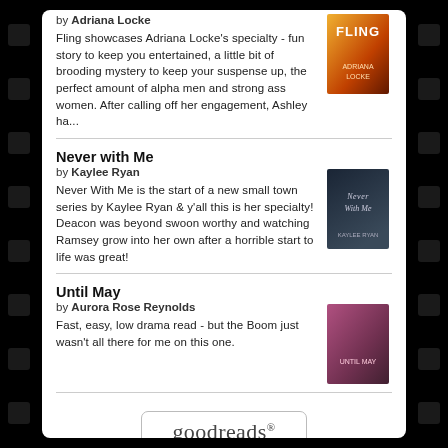by Adriana Locke
Fling showcases Adriana Locke's specialty - fun story to keep you entertained, a little bit of brooding mystery to keep your suspense up, the perfect amount of alpha men and strong ass women. After calling off her engagement, Ashley ha...
[Figure (photo): Book cover for Fling by Adriana Locke]
Never with Me
by Kaylee Ryan
Never With Me is the start of a new small town series by Kaylee Ryan & y'all this is her specialty! Deacon was beyond swoon worthy and watching Ramsey grow into her own after a horrible start to life was great!
[Figure (photo): Book cover for Never with Me by Kaylee Ryan]
Until May
by Aurora Rose Reynolds
Fast, easy, low drama read - but the Boom just wasn't all there for me on this one.
[Figure (photo): Book cover for Until May by Aurora Rose Reynolds]
[Figure (logo): Goodreads logo in a rounded rectangle box]